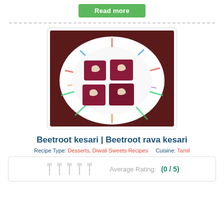Read more
[Figure (photo): Photo of beetroot kesari squares topped with cashews on a colorful decorative plate with a dark red/maroon background]
Beetroot kesari | Beetroot rava kesari
Recipe Type: Desserts, Diwali Sweets Recipes    Cuisine: Tamil
Average Rating: (0 / 5)